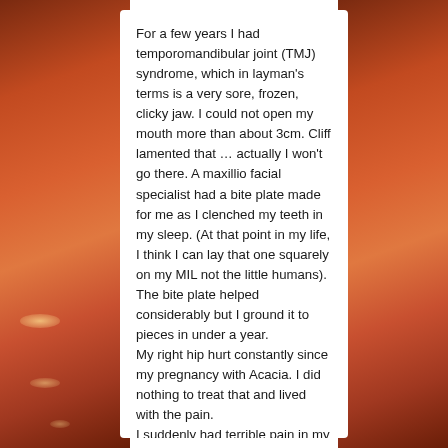[Figure (photo): Background photo of a sunset over water with reddish-orange tones, visible on left and right sides of the page flanking a white text panel.]
For a few years I had temporomandibular joint (TMJ) syndrome, which in layman's terms is a very sore, frozen, clicky jaw.  I could not open my mouth more than about 3cm.  Cliff lamented that … actually I won't go there.  A maxillio facial specialist had a bite plate made for me as I clenched my teeth in my sleep.  (At that point in my life, I think I can lay that one squarely on my MIL not the little humans).  The bite plate helped considerably but I ground it to pieces in under a year.
My right hip hurt constantly since my pregnancy with Acacia.  I did nothing to treat that and lived with the pain.
I suddenly had terrible pain in my index finger.  I could not bend it and it hurt like hell.  Doctors are my last resort but I went to one because I thought that an